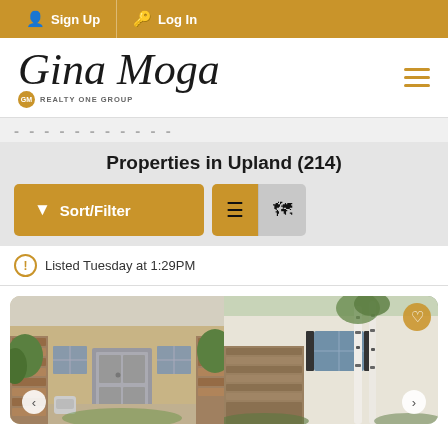Sign Up  Log In
[Figure (logo): Gina Moga Realty One Group logo with script font and orange badge]
Properties in Upland (214)
Sort/Filter
Listed Tuesday at 1:29PM
[Figure (photo): Two property photos side by side showing house exterior with stone facade, front door, and white birch trees]